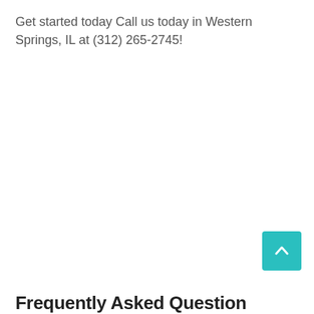Get started today Call us today in Western Springs, IL at (312) 265-2745!
Frequently Asked Question